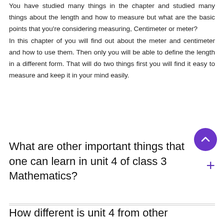You have studied many things in the chapter and studied many things about the length and how to measure but what are the basic points that you're considering measuring, Centimeter or meter? In this chapter of you will find out about the meter and centimeter and how to use them. Then only you will be able to define the length in a different form. That will do two things first you will find it easy to measure and keep it in your mind easily.
What are other important things that one can learn in unit 4 of class 3 Mathematics?
How different is unit 4 from other